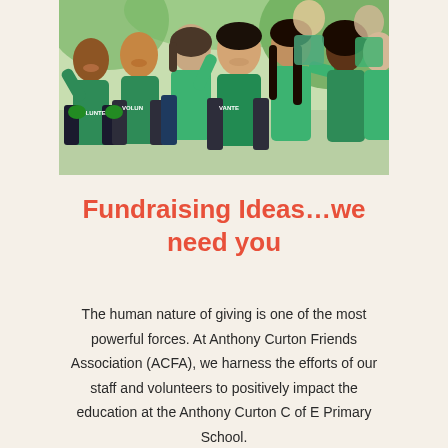[Figure (photo): Group of smiling young volunteers wearing green t-shirts with 'VOLUNTEER' text, raising hands and celebrating outdoors]
Fundraising Ideas…we need you
The human nature of giving is one of the most powerful forces. At Anthony Curton Friends Association (ACFA), we harness the efforts of our staff and volunteers to positively impact the education at the Anthony Curton C of E Primary School.